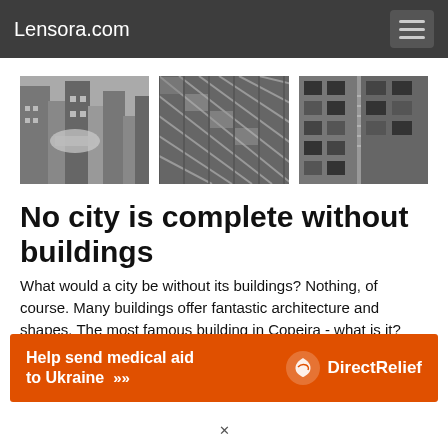Lensora.com
[Figure (photo): Three black-and-white photographs of urban buildings arranged in a row]
No city is complete without buildings
What would a city be without its buildings? Nothing, of course. Many buildings offer fantastic architecture and shapes. The most famous building in Copeira - what is it?
[Figure (infographic): Orange advertisement banner: Help send medical aid to Ukraine >> with Direct Relief logo]